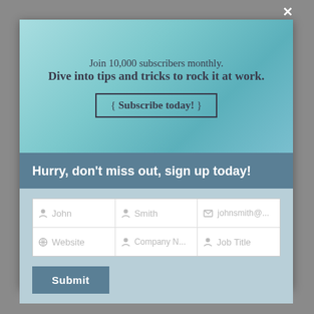Join 10,000 subscribers monthly. Dive into tips and tricks to rock it at work.
{ Subscribe today! }
Hurry, don't miss out, sign up today!
[Figure (screenshot): Subscription signup form with fields: John, Smith, johnsmith@..., Website, Company N..., Job Title, and a Submit button]